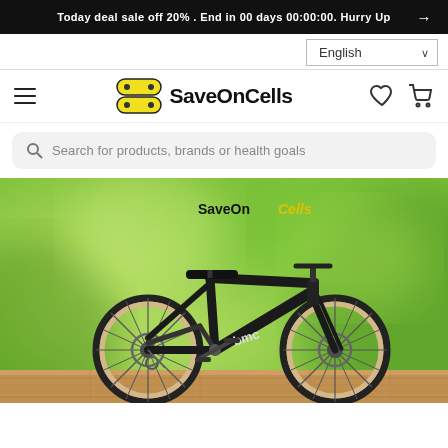Today deal sale off 20% . End in 00 days 00:00:00. Hurry Up →
English
[Figure (logo): SaveOnCells logo with yellow hexagon badge icon and bold black text]
Search for products, brands or health goals
[Figure (photo): Hero banner showing a black BMC full-suspension mountain bike on a wooden surface with blurred green foliage background. SaveOnCells brand text overlay at top.]